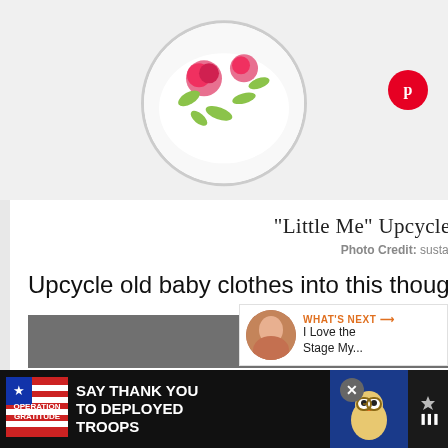[Figure (photo): Circular photo of a white decorative throw pillow with pink roses and green leaf pattern]
"Little Me" Upcycled Throw Pillow
Photo Credit: sustainmycrafthabit.com
Upcycle old baby clothes into this thoughtful keepsake throw pillow.
CONTINUE READING
[Figure (photo): What's Next thumbnail - I Love the Stage My...]
WHAT'S NEXT → I Love the Stage My...
[Figure (photo): Advertisement banner: Operation Gratitude - SAY THANK YOU TO DEPLOYED TROOPS with owl mascot and flag imagery]